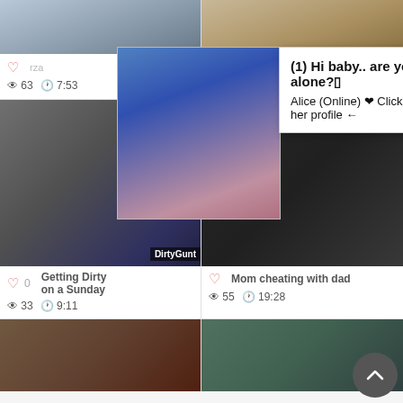[Figure (screenshot): Adult video thumbnail grid page with popup overlay showing chat notification. Top row shows two partial video thumbnails. Middle section shows two video cards with thumbnails, titles, view counts and durations. Bottom row shows two more video cards. A popup notification reads '(1) Hi baby.. are you alone?' from Alice (Online). A scroll-to-top button is visible at bottom right.]
(1) Hi baby.. are you alone?
Alice (Online) ❤ Click to see her profile ←
63 views · 7:53
78 views · 5:01
Getting Dirty on a Sunday
0 likes · 33 views · 9:11
Mom cheating with dad
55 views · 19:28